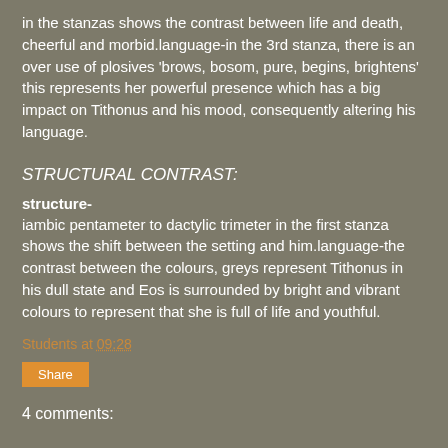in the stanzas shows the contrast between life and death, cheerful and morbid.language-in the 3rd stanza, there is an over use of plosives 'brows, bosom, pure, begins, brightens' this represents her powerful presence which has a big impact on Tithonus and his mood, consequently altering his language.
STRUCTURAL CONTRAST:
structure-
iambic pentameter to dactylic trimeter in the first stanza shows the shift between the setting and him.language-the contrast between the colours, greys represent Tithonus in his dull state and Eos is surrounded by bright and vibrant colours to represent that she is full of life and youthful.
Students at 09:28
Share
4 comments: